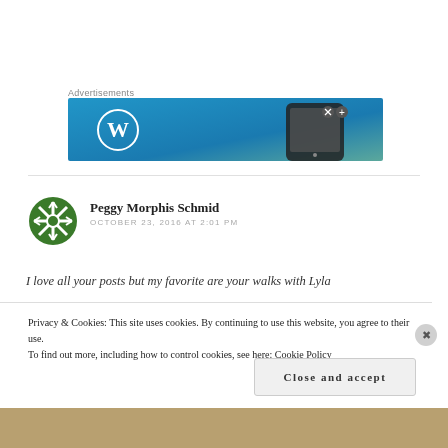Advertisements
[Figure (screenshot): WordPress advertisement banner with blue-teal gradient background, WordPress logo on the left and a smartphone on the right]
Peggy Morphis Schmid
OCTOBER 23, 2016 AT 2:01 PM
I love all your posts but my favorite are your walks with Lyla
Privacy & Cookies: This site uses cookies. By continuing to use this website, you agree to their use.
To find out more, including how to control cookies, see here: Cookie Policy
Close and accept